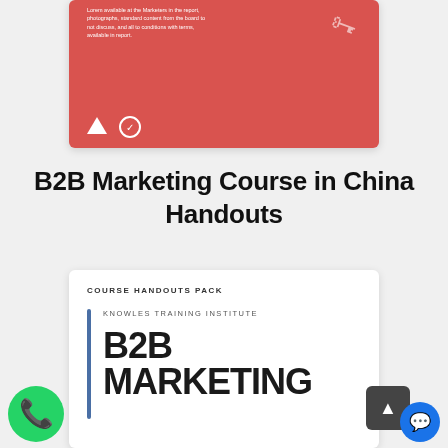[Figure (illustration): Red card with small white text, a white triangle icon, a circle check icon, and a key icon on the right side]
B2B Marketing Course in China Handouts
[Figure (illustration): White card showing 'COURSE HANDOUTS PACK' label, a blue vertical bar, 'KNOWLES TRAINING INSTITUTE' text, and large bold 'B2B MARKETING' text]